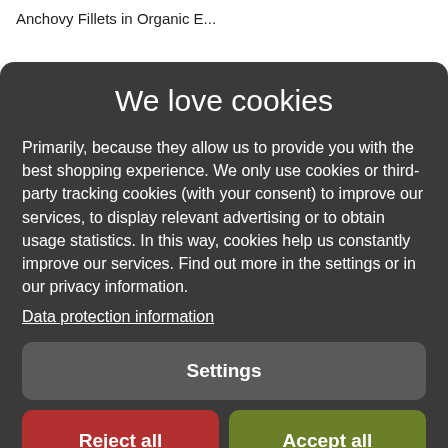Anchovy Fillets in Organic E...
We love cookies
Primarily, because they allow us to provide you with the best shopping experience. We only use cookies or third-party tracking cookies (with your consent) to improve our services, to display relevant advertising or to obtain usage statistics. In this way, cookies help us constantly improve our services. Find out more in the settings or in our privacy information.
Data protection information
Settings
Reject all
Accept all